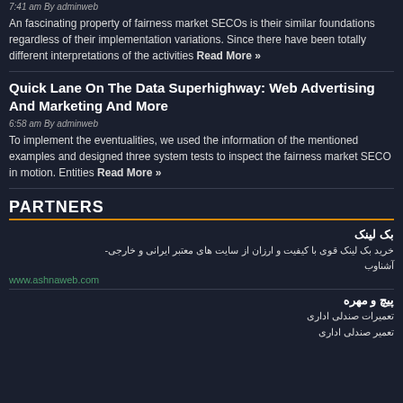7:41 am By adminweb
An fascinating property of fairness market SECOs is their similar foundations regardless of their implementation variations. Since there have been totally different interpretations of the activities Read More »
Quick Lane On The Data Superhighway: Web Advertising And Marketing And More
6:58 am By adminweb
To implement the eventualities, we used the information of the mentioned examples and designed three system tests to inspect the fairness market SECO in motion. Entities Read More »
PARTNERS
بک لینک
خرید بک لینک قوی با کیفیت و ارزان از سایت های معتبر ایرانی و خارجی- آشناوب
www.ashnaweb.com
پیچ و مهره
تعمیرات صندلی اداری
تعمیر صندلی اداری